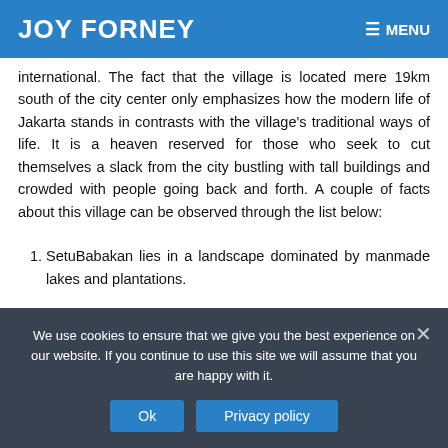JOY FORNEY | MENU
international. The fact that the village is located mere 19km south of the city center only emphasizes how the modern life of Jakarta stands in contrasts with the village's traditional ways of life. It is a heaven reserved for those who seek to cut themselves a slack from the city bustling with tall buildings and crowded with people going back and forth. A couple of facts about this village can be observed through the list below:
SetuBabakan lies in a landscape dominated by manmade lakes and plantations.
We use cookies to ensure that we give you the best experience on our website. If you continue to use this site we will assume that you are happy with it.